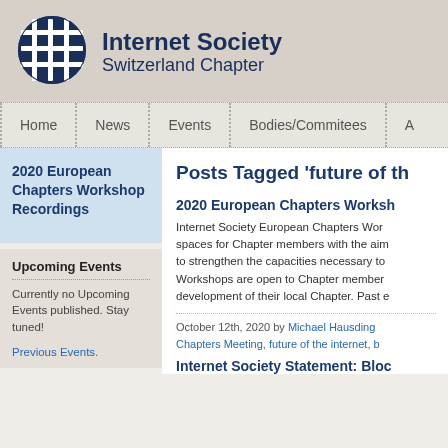Internet Society Switzerland Chapter
[Figure (logo): Internet Society globe/network logo in dark navy blue]
Home | News | Events | Bodies/Committees | A...
2020 European Chapters Workshop Recordings
Upcoming Events
Currently no Upcoming Events published. Stay tuned!
Previous Events.
Posts Tagged 'future of th...
2020 European Chapters Worksh...
Internet Society European Chapters Wor... spaces for Chapter members with the aim... to strengthen the capacities necessary to... Workshops are open to Chapter member... development of their local Chapter. Past e...
October 12th, 2020 by Michael Hausding... Chapters Meeting, future of the internet, b...
Internet Society Statement: Bloc...